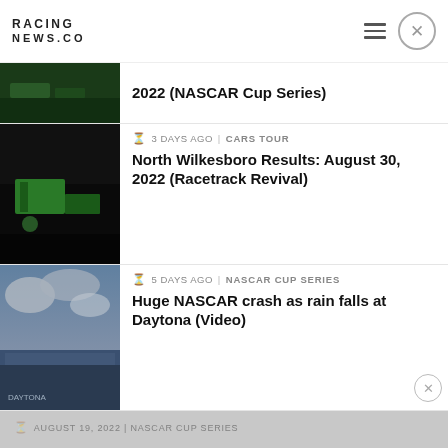RACING NEWS.CO
2022 (NASCAR Cup Series)
3 DAYS AGO | CARS TOUR
North Wilkesboro Results: August 30, 2022 (Racetrack Revival)
5 DAYS AGO | NASCAR CUP SERIES
Huge NASCAR crash as rain falls at Daytona (Video)
AUGUST 19, 2022 | NASCAR CUP SERIES